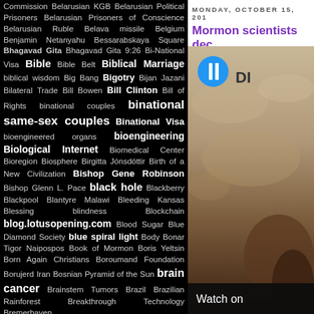Commission Belarusian KGB Belarusian Political Prisoners Belarusian Prisoners of Conscience Belarusian Ruble Belava missile Belgium Benjamin Netanyahu Bessarabskaya Square Bhagavad Gita Bhagavad Gita 9:26 Bi-National Visa Bible Bible Belt Biblical Marriage biblical wisdom Big Bang Bigotry Bijan Jazani Bilateral Trade Bill Bowen Bill Clinton Bill of Rights binational couples binational same-sex couples Binational Visa bioengineered organs bioengineering Biological Internet Biomedical Center Bioregion Biosphere Birgitta Jónsdóttir Birth of a New Civilization Bishop Gene Robinson Bishop Glenn L. Pace black hole Blackberry Blackpool Blantyre Malawi Bleeding Kansas Blessing blindness Blockchain blog.lotusopening.com Blood Sugar Blue Diamond Society blue spiral light Body Bonar Tigor Naipospos Book of Mormon Boris Yeltsin Born Again Christians Boroumand Foundation Borujerd Iran Bosnian Pyramid of the Sun brain cancer Brainstem Tumors Brazil Brazilian Rainforest Breakthrough Technology Bremerhaven
MONDAY, OCTOBER 15, 201
Mormon scientists dec
[Figure (photo): Video thumbnail showing a brown/tan rocky or desert surface with a video play button (blue circle with white I/pause icon) and partial text 'DI' visible. A 'Watch on' overlay bar appears at the bottom.]